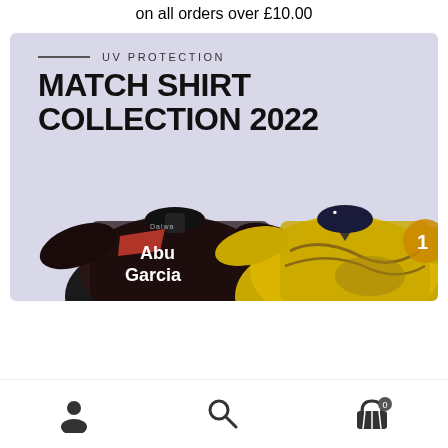on all orders over £10.00
[Figure (illustration): Promotional banner for Match Shirt Collection 2022 with UV Protection label and two fishing shirts - Abu Garcia branded dark shirt and a yellow fish-themed shirt]
Navigation bar with account icon, search icon, and basket icon showing 0 items